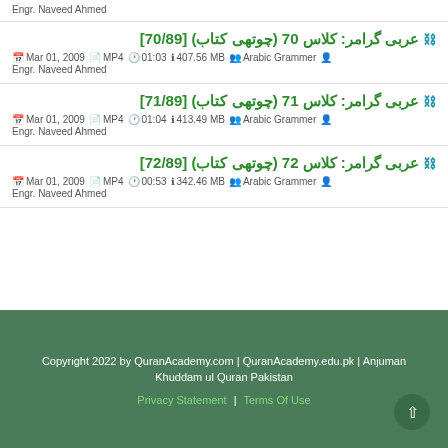Engr. Naveed Ahmed
عربی گرامر: کلاس 70 (چوتھی کتاب) [70/89] — Mar 01, 2009 | MP4 | 01:03 | 407.56 MB | Arabic Grammer | Engr. Naveed Ahmed
عربی گرامر: کلاس 71 (چوتھی کتاب) [71/89] — Mar 01, 2009 | MP4 | 01:04 | 413.49 MB | Arabic Grammer | Engr. Naveed Ahmed
عربی گرامر: کلاس 72 (چوتھی کتاب) [72/89] — Mar 01, 2009 | MP4 | 00:53 | 342.46 MB | Arabic Grammer | Engr. Naveed Ahmed
Copyright 2022 by QuranAcademy.com | QuranAcademy.edu.pk | Anjuman Khuddam ul Quran Pakistan | Privacy Statement | Terms Of Use